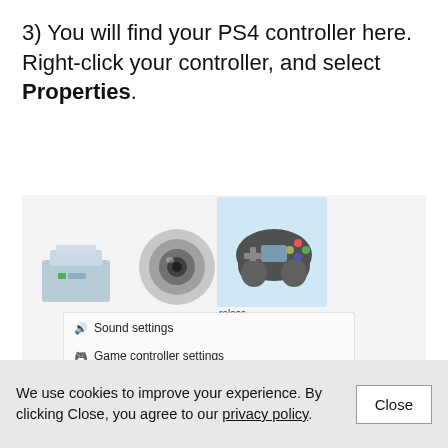3) You will find your PS4 controller here. Right-click your controller, and select Properties.
[Figure (screenshot): Windows context menu showing options: Sound settings, Game controller settings, Create shortcut, Remove device, Troubleshoot, and Properties (highlighted with red border). A red arrow points to Properties. Background shows device icons including a gaming controller icon selected in blue, a camera/webcam icon, and a USB device icon.]
We use cookies to improve your experience. By clicking Close, you agree to our privacy policy.